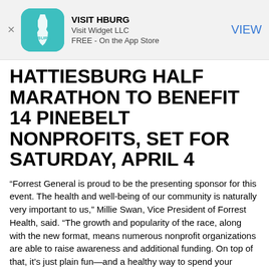[Figure (logo): Visit HBURG app banner advertisement with teal app icon showing Mississippi state outline with HBURG text, app name VISIT HBURG, publisher Visit Widget LLC, FREE - On the App Store, and VIEW button]
HATTIESBURG HALF MARATHON TO BENEFIT 14 PINEBELT NONPROFITS, SET FOR SATURDAY, APRIL 4
“Forrest General is proud to be the presenting sponsor for this event. The health and well-being of our community is naturally very important to us,” Millie Swan, Vice President of Forrest Health, said. “The growth and popularity of the race, along with the new format, means numerous nonprofit organizations are able to raise awareness and additional funding. On top of that, it’s just plain fun—and a healthy way to spend your morning. We encourage everyone to come out and participate as a runner, volunteer, or donor.”
In 2019 the race, changed the running course, added a 10k, and drew in an additional 400 runners. Not only did the race see participation grow last year, but the fundraising component